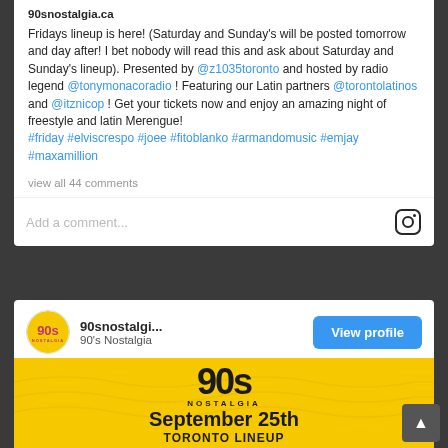90snostalgia.ca
Fridays lineup is here! (Saturday and Sunday's will be posted tomorrow and day after! I bet nobody will read this and ask about Saturday and Sunday's lineup). Presented by @z1035toronto and hosted by radio legend @tonymonacoradio ! Featuring our Latin partners @torontolatinos and @itznicop ! Get your tickets now and enjoy an amazing night of freestyle and latin Merengue! #friday #elviscrespo #joee #fitoblanko #armandomusic #emjay #maxamillion
view all 44 comments
Add a comment...
90snostalgi... 90's Nostalgia
View profile
[Figure (logo): 90s Nostalgia logo on yellow background with '90s NOSTALGIA' text, 'September 25th' and 'TORONTO LINEUP']